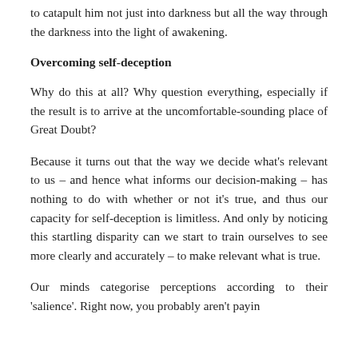to catapult him not just into darkness but all the way through the darkness into the light of awakening.
Overcoming self-deception
Why do this at all? Why question everything, especially if the result is to arrive at the uncomfortable-sounding place of Great Doubt?
Because it turns out that the way we decide what's relevant to us – and hence what informs our decision-making – has nothing to do with whether or not it's true, and thus our capacity for self-deception is limitless. And only by noticing this startling disparity can we start to train ourselves to see more clearly and accurately – to make relevant what is true.
Our minds categorise perceptions according to their 'salience'. Right now, you probably aren't payin